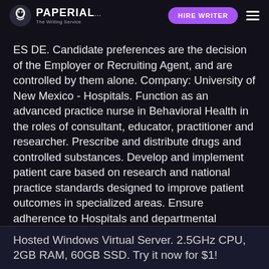PAPERIAL... | HIRE WRITER
ES DE. Candidate preferences are the decision of the Employer or Recruiting Agent, and are controlled by them alone. Company: University of New Mexico - Hospitals. Function as an advanced practice nurse in Behavioral Health in the roles of consultant, educator, practitioner and researcher. Prescribe and distribute drugs and controlled substances. Develop and implement patient care based on research and national practice standards designed to improve patient outcomes in specialized areas. Ensure adherence to Hospitals and departmental policies and procedures.
Hosted Windows Virtual Server. 2.5GHz CPU, 2GB RAM, 60GB SSD. Try it now for $1!